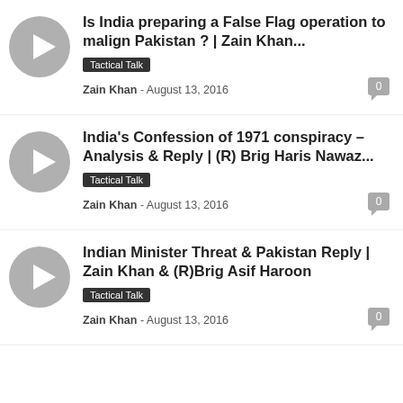[Figure (other): Video thumbnail placeholder with play button icon]
Is India preparing a False Flag operation to malign Pakistan ? | Zain Khan...
Tactical Talk
Zain Khan - August 13, 2016 | 0
[Figure (other): Video thumbnail placeholder with play button icon]
India's Confession of 1971 conspiracy – Analysis & Reply | (R) Brig Haris Nawaz...
Tactical Talk
Zain Khan - August 13, 2016 | 0
[Figure (other): Video thumbnail placeholder with play button icon]
Indian Minister Threat & Pakistan Reply | Zain Khan & (R)Brig Asif Haroon
Tactical Talk
Zain Khan - August 13, 2016 | 0